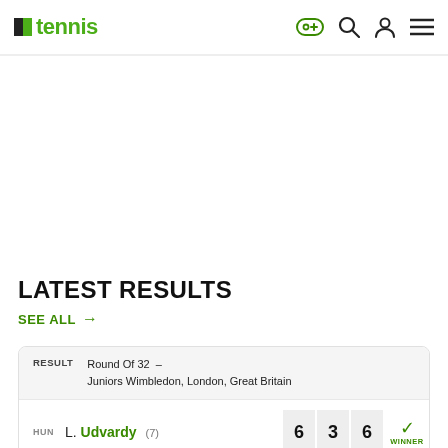tennis
LATEST RESULTS
SEE ALL →
|  | Player | Set 1 | Set 2 | Set 3 |  |
| --- | --- | --- | --- | --- | --- |
| HUN | L. Udvardy (7) | 6 | 3 | 6 | WINNER |
|  |  |  |  |  |  |